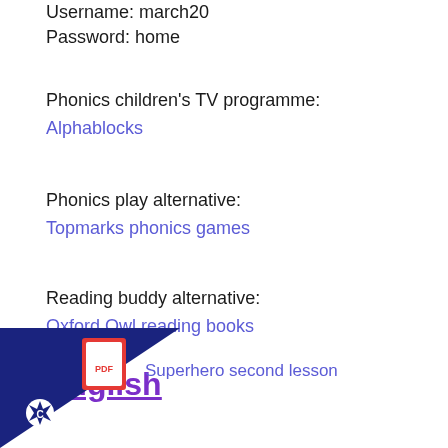Username: march20
Password: home
Phonics children's TV programme:
Alphablocks
Phonics play alternative:
Topmarks phonics games
Reading buddy alternative:
Oxford Owl reading books
English
[Figure (illustration): Dark blue/navy triangle in bottom-left corner with a white star/snowflake icon and letter C, plus a PDF icon and the text 'Superhero second lesson' in blue]
Superhero second lesson